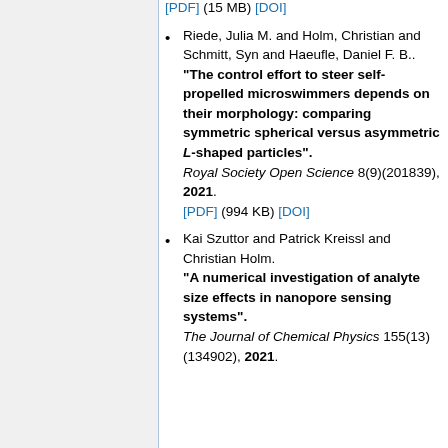[PDF] (15 MB) [DOI]
Riede, Julia M. and Holm, Christian and Schmitt, Syn and Haeufle, Daniel F. B.. "The control effort to steer self-propelled microswimmers depends on their morphology: comparing symmetric spherical versus asymmetric L-shaped particles". Royal Society Open Science 8(9)(201839), 2021. [PDF] (994 KB) [DOI]
Kai Szuttor and Patrick Kreissl and Christian Holm. "A numerical investigation of analyte size effects in nanopore sensing systems". The Journal of Chemical Physics 155(13)(134902), 2021.